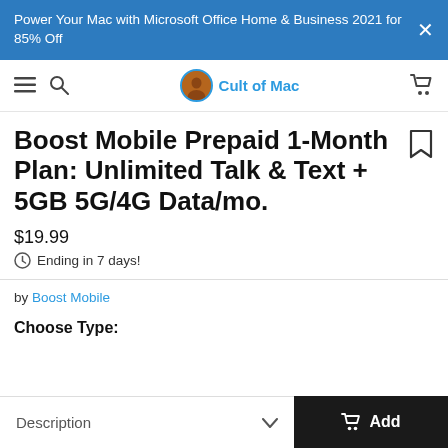Power Your Mac with Microsoft Office Home & Business 2021 for 85% Off
Cult of Mac
Boost Mobile Prepaid 1-Month Plan: Unlimited Talk & Text + 5GB 5G/4G Data/mo.
$19.99
Ending in 7 days!
by Boost Mobile
Choose Type:
Description